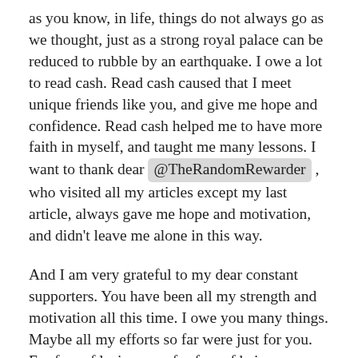as you know, in life, things do not always go as we thought, just as a strong royal palace can be reduced to rubble by an earthquake. I owe a lot to read cash. Read cash caused that I meet unique friends like you, and give me hope and confidence. Read cash helped me to have more faith in myself, and taught me many lessons. I want to thank dear @TheRandomRewarder , who visited all my articles except my last article, always gave me hope and motivation, and didn't leave me alone in this way.
And I am very grateful to my dear constant supporters. You have been all my strength and motivation all this time. I owe you many things. Maybe all my efforts so far were just for you. For fear of losing you, for fear of being away from you. I never thought I would find such good and kind friends from other countries, who could be so sympathetic to me, that their friendship would be so